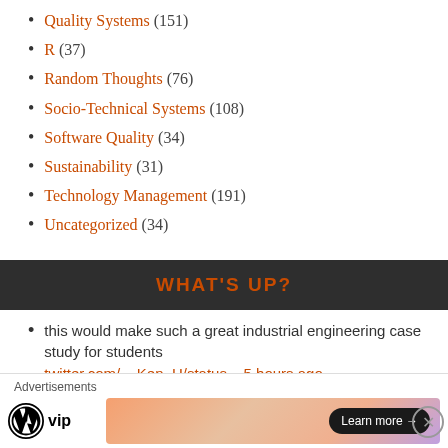Quality Systems (151)
R (37)
Random Thoughts (76)
Socio-Technical Systems (108)
Software Quality (34)
Sustainability (31)
Technology Management (191)
Uncategorized (34)
WHAT'S UP?
this would make such a great industrial engineering case study for students twitter.com/__Ken_H/status... 5 hours ago
Advertisements
[Figure (logo): WordPress VIP logo and advertisement banner with Learn more button]